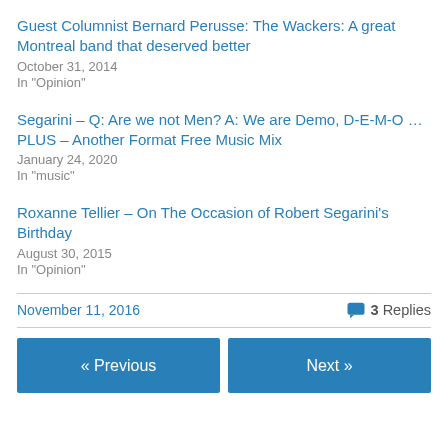Guest Columnist Bernard Perusse: The Wackers: A great Montreal band that deserved better
October 31, 2014
In "Opinion"
Segarini – Q: Are we not Men? A: We are Demo, D-E-M-O … PLUS – Another Format Free Music Mix
January 24, 2020
In "music"
Roxanne Tellier – On The Occasion of Robert Segarini's Birthday
August 30, 2015
In "Opinion"
November 11, 2016    3 Replies
« Previous    Next »